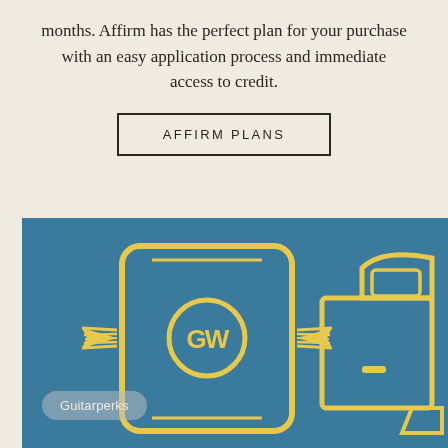months. Affirm has the perfect plan for your purchase with an easy application process and immediate access to credit.
AFFIRM PLANS
[Figure (illustration): Blue background section showing a yellow outline illustration of a smartphone with a GW winged logo and a delivery van/truck outline on the right side. A semi-transparent 'Guitarperks' watermark badge appears at the bottom left.]